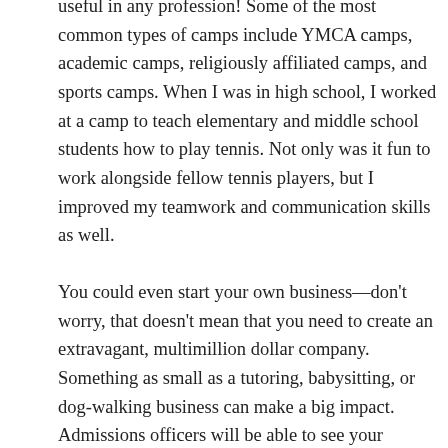useful in any profession! Some of the most common types of camps include YMCA camps, academic camps, religiously affiliated camps, and sports camps. When I was in high school, I worked at a camp to teach elementary and middle school students how to play tennis. Not only was it fun to work alongside fellow tennis players, but I improved my teamwork and communication skills as well.
You could even start your own business—don't worry, that doesn't mean that you need to create an extravagant, multimillion dollar company. Something as small as a tutoring, babysitting, or dog-walking business can make a big impact. Admissions officers will be able to see your motivation to tackle leadership roles.
Volunteer
[Figure (other): Advertisement banner for Colgate University (Hamilton, NY - Private) with orange 'SEE PROFILE »' button, flame logo with 'COLLEGES OF DISTINCTION' text, and university name. Has an X close button.]
There … oose from, … shelter,